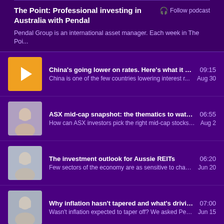The Point: Professional investing in Australia with Pendal
Pendal Group is an international asset manager. Each week in The Poi...
China's going lower on rates. Here's what it means... | 09:15 | China is one of the few countries lowering interest r... | Aug 30
ASX mid-cap snapshot: the thematics to watch righ... | 06:55 | How can ASX investors pick the right mid-cap stocks i... | Aug 2
The investment outlook for Aussie REITs | 06:20 | Few sectors of the economy are as sensitive to chang... | Jun 20
Why inflation hasn't tapered and what's driving ma... | 07:00 | Wasn't inflation expected to taper off? We asked Pend... | Jun 15